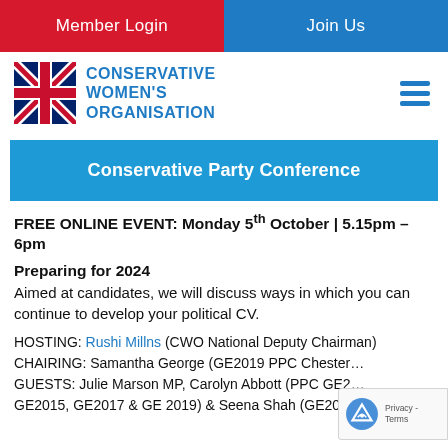Member Login | Join Us
[Figure (logo): Conservative Women's Organisation logo with UK flag]
Conservative Party Conference
FREE ONLINE EVENT: Monday 5th October | 5.15pm – 6pm
Preparing for 2024
Aimed at candidates, we will discuss ways in which you can continue to develop your political CV.
HOSTING: Rushi Millns (CWO National Deputy Chairman) CHAIRING: Samantha George (GE2019 PPC Chester…) GUESTS: Julie Marson MP, Carolyn Abbott (PPC GE2… GE2015, GE2017 & GE 2019) & Seena Shah (GE2019 PPC